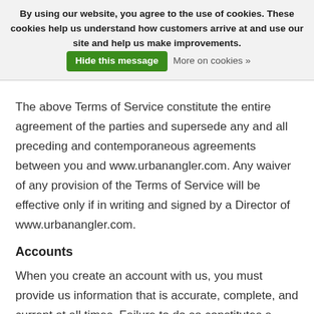By using our website, you agree to the use of cookies. These cookies help us understand how customers arrive at and use our site and help us make improvements. [Hide this message] More on cookies »
The above Terms of Service constitute the entire agreement of the parties and supersede any and all preceding and contemporaneous agreements between you and www.urbanangler.com. Any waiver of any provision of the Terms of Service will be effective only if in writing and signed by a Director of www.urbanangler.com.
Accounts
When you create an account with us, you must provide us information that is accurate, complete, and current at all times. Failure to do so constitutes a